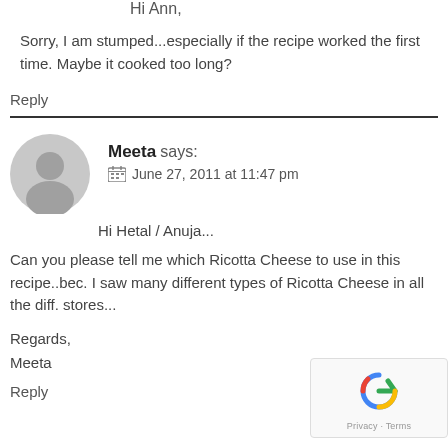Hi Ann,
Sorry, I am stumped...especially if the recipe worked the first time. Maybe it cooked too long?
Reply
Meeta says:
June 27, 2011 at 11:47 pm
Hi Hetal / Anuja...
Can you please tell me which Ricotta Cheese to use in this recipe..bec. I saw many different types of Ricotta Cheese in all the diff. stores...
Regards,
Meeta
Reply